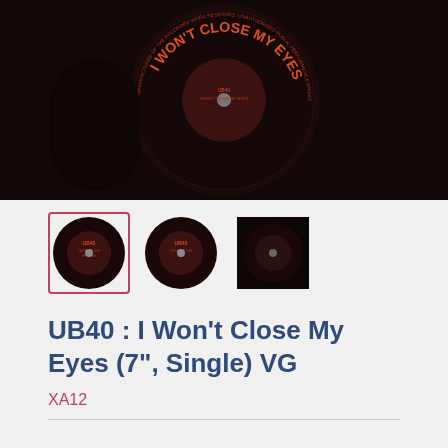[Figure (photo): Close-up of a dark vinyl record label with orange text reading 'I WON'T CLOSE MY EYES' at top, and circular text around the edge about recording rights. Background is very dark/black.]
[Figure (photo): Three thumbnail images of a vinyl record, the first selected with a pink/red border.]
UB40 : I Won't Close My Eyes (7", Single) VG
XA12
Price: £1.62
Quantity: 1